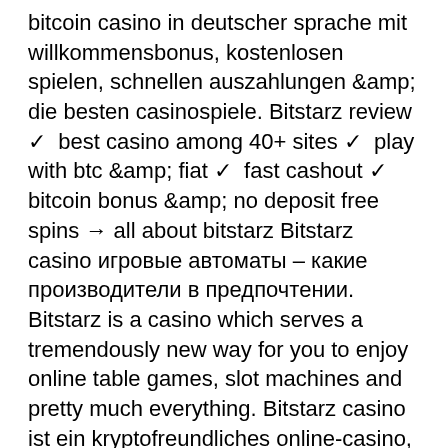bitcoin casino in deutscher sprache mit willkommensbonus, kostenlosen spielen, schnellen auszahlungen &amp; die besten casinospiele. Bitstarz review ✓ best casino among 40+ sites ✓ play with btc &amp; fiat ✓ fast cashout ✓ bitcoin bonus &amp; no deposit free spins → all about bitstarz Bitstarz casino игровые автоматы – какие производители в предпочтении. Bitstarz is a casino which serves a tremendously new way for you to enjoy online table games, slot machines and pretty much everything. Bitstarz casino ist ein kryptofreundliches online-casino, das viel zu bieten hat. Lesen sie unseren test, um zu sehen, ob es ihre zeit und ihr geld wert. Bitstarz wurde ursprünglich als ✓ bitcoin-casino gegründet ✓ und hat sich schnell zu einem ✓ der beliebtesten online-casinos der welt. Read bitstarz casino review and know how to get deposit bonus, play slots and make withdrawals bitstarz casino review